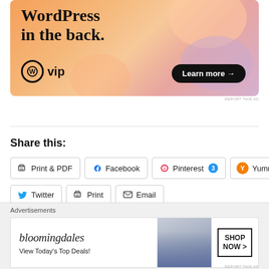[Figure (illustration): WordPress VIP advertisement banner with colorful blob background. Text reads 'WordPress in the back.' with WordPress VIP logo and 'Learn more →' button.]
REPORT THIS AD
Share this:
Print & PDF  Facebook  Pinterest 3  Yummly  Twitter  Print  Email
Loading...
[Figure (illustration): Bloomingdales advertisement banner: 'bloomingdales View Today's Top Deals!' with SHOP NOW > button and woman in hat image.]